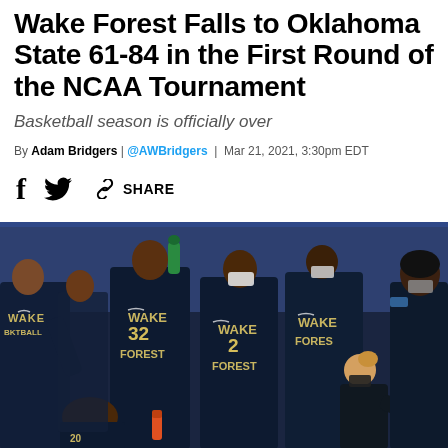Wake Forest Falls to Oklahoma State 61-84 in the First Round of the NCAA Tournament
Basketball season is officially over
By Adam Bridgers | @AWBridgers | Mar 21, 2021, 3:30pm EDT
f [facebook share] [twitter share] SHARE
[Figure (photo): Wake Forest women's basketball players in dark uniforms huddled around a coach during a timeout. Players wearing numbers 32 and 2 are visible along with other teammates. The coach is wearing a mask and speaking to the team.]